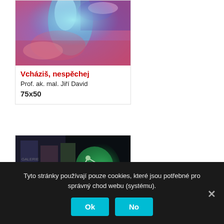[Figure (photo): Colorful abstract painting with blue, purple and pink tones, showing a flowing blue form]
Vcháziš, nespěchej
Prof. ak. mal. Jiří David
75x50
[Figure (photo): Second artwork image showing a green glowing hand holding molecular structure, with gallery watermark overlay]
Tyto stránky používají pouze cookies, které jsou potřebné pro správný chod webu (systému).